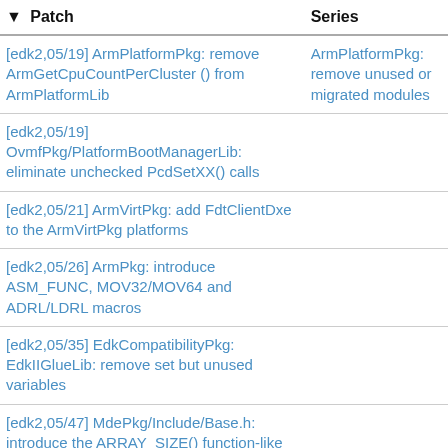| Patch | Series |
| --- | --- |
| [edk2,05/19] ArmPlatformPkg: remove ArmGetCpuCountPerCluster () from ArmPlatformLib | ArmPlatformPkg: remove unused or migrated modules |
| [edk2,05/19] OvmfPkg/PlatformBootManagerLib: eliminate unchecked PcdSetXX() calls |  |
| [edk2,05/21] ArmVirtPkg: add FdtClientDxe to the ArmVirtPkg platforms |  |
| [edk2,05/26] ArmPkg: introduce ASM_FUNC, MOV32/MOV64 and ADRL/LDRL macros |  |
| [edk2,05/35] EdkCompatibilityPkg: EdkIIGlueLib: remove set but unused variables |  |
| [edk2,05/47] MdePkg/Include/Base.h: introduce the ARRAY_SIZE() function-like macro |  |
| [edk2,0/5] MdePkg BaseTools: GCC optimization for X64 |  |
| [edk2,0/5] MdePkg BaseTools: GCC optimization for X64 |  |
| [edk2,06/10] StandaloneMmPkg/Core: permit encapsulated firmware volumes | StandaloneMmPkg ArmPkg: cleanups |